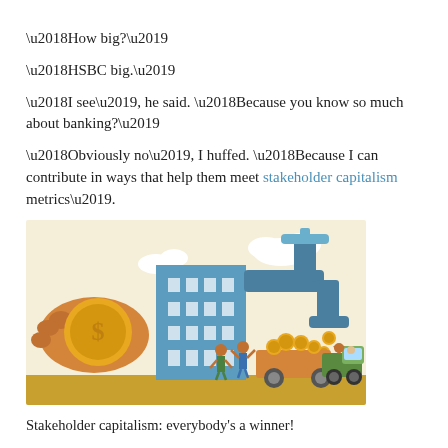‘How big?’
‘HSBC big.’
‘I see’, he said. ‘Because you know so much about banking?’
‘Obviously no’, I huffed. ‘Because I can contribute in ways that help them meet stakeholder capitalism metrics’.
[Figure (illustration): Illustration showing stakeholder capitalism concept: a hand holding a coin with dollar sign next to a blue building/skyscraper, a large blue faucet/tap dripping gold coins into a cart being pulled by people, with a green truck in background, on a golden-yellow ground against a light beige sky with clouds.]
Stakeholder capitalism: everybody's a winner!